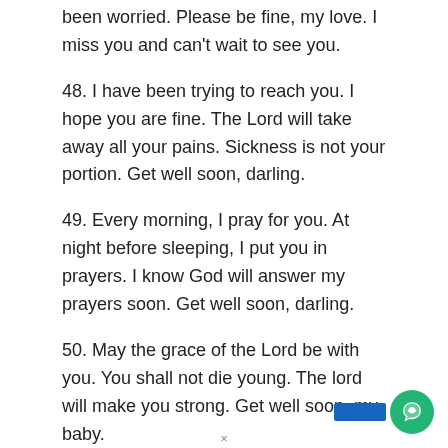been worried. Please be fine, my love. I miss you and can't wait to see you.
48. I have been trying to reach you. I hope you are fine. The Lord will take away all your pains. Sickness is not your portion. Get well soon, darling.
49. Every morning, I pray for you. At night before sleeping, I put you in prayers. I know God will answer my prayers soon. Get well soon, darling.
50. May the grace of the Lord be with you. You shall not die young. The lord will make you strong. Get well soon, my baby.